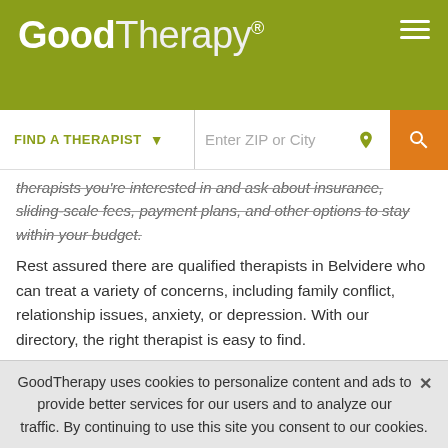GoodTherapy®
therapists you're interested in and ask about insurance, sliding-scale fees, payment plans, and other options to stay within your budget.
Rest assured there are qualified therapists in Belvidere who can treat a variety of concerns, including family conflict, relationship issues, anxiety, or depression. With our directory, the right therapist is easy to find.
LIST YOUR PRACTICE ON GOODTHERAPY
Are you a therapist or mental health professional looking for
GoodTherapy uses cookies to personalize content and ads to provide better services for our users and to analyze our traffic. By continuing to use this site you consent to our cookies.